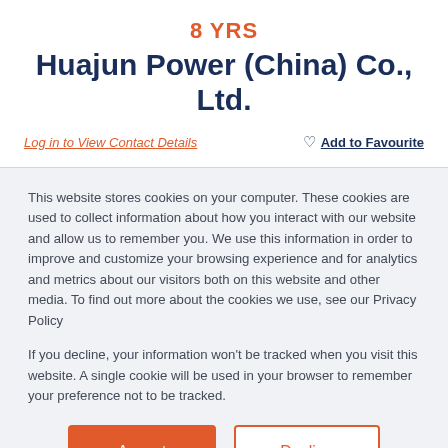8 YRS
Huajun Power (China) Co., Ltd.
Log in to View Contact Details
♡ Add to Favourite
This website stores cookies on your computer. These cookies are used to collect information about how you interact with our website and allow us to remember you. We use this information in order to improve and customize your browsing experience and for analytics and metrics about our visitors both on this website and other media. To find out more about the cookies we use, see our Privacy Policy
If you decline, your information won't be tracked when you visit this website. A single cookie will be used in your browser to remember your preference not to be tracked.
Accept
Decline